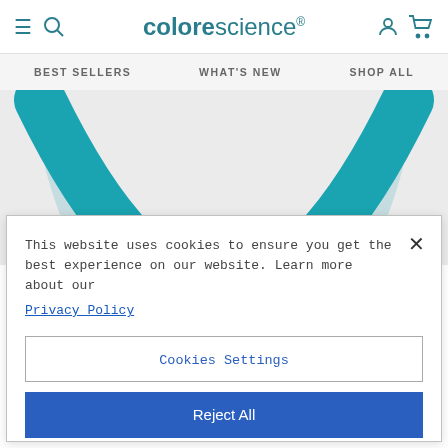colorescience - BEST SELLERS  WHAT'S NEW  SHOP ALL
[Figure (illustration): Teal/turquoise curved arc shape (bottom half of a circle) on a light gray background, part of the Colorescience website banner.]
This website uses cookies to ensure you get the best experience on our website. Learn more about our Privacy Policy
Cookies Settings
Reject All
Accept All Cookies